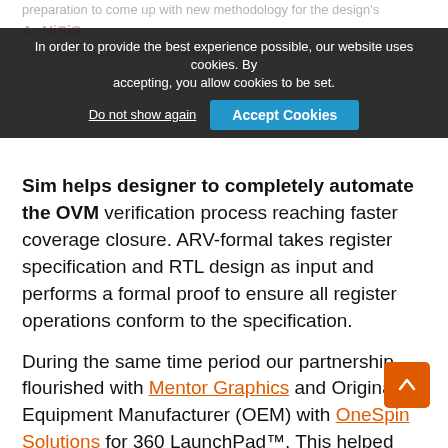preparation to come up with new methodology for the design's
In order to provide the best experience possible, our website uses cookies. By accepting, you allow cookies to be set.
Automatic Register Verification (ARV™) at AgNiSiS. ARV-Sim helps designer to completely automate the OVM verification process reaching faster coverage closure. ARV-formal takes register specification and RTL design as input and performs a formal proof to ensure all register operations conform to the specification.
During the same time period our partnership flourished with Mentor Graphics and Original Equipment Manufacturer (OEM) with OneSpin Solutions for 360 LaunchPad™. This helped our customers to get the formally verified code from IDesignSpec.
Last but not the least, the ARM TechCon 2015 Nov 10-12, at Santa Clara, was our first experience with the ARM based design verification community. We felt that visitors at ARM TechCon were different from the DVCon and DAC, but they too had similar issues.
As i ued our RM Networking Presentations